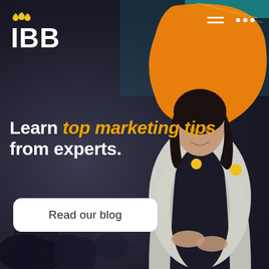[Figure (illustration): IBB marketing blog promotional banner. Dark blurred conference audience background with an orange decorative blob shape in the top-right corner. A professional woman in a white blazer and black outfit stands on the right side. IBB logo with crown icon is in the top-left. Text reads 'Learn top marketing tips from experts.' with a 'Read our blog' call-to-action button.]
IBB
Learn top marketing tips from experts.
Read our blog